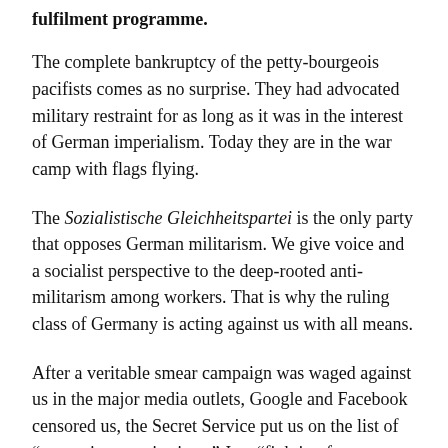fulfilment programme.
The complete bankruptcy of the petty-bourgeois pacifists comes as no surprise. They had advocated military restraint for as long as it was in the interest of German imperialism. Today they are in the war camp with flags flying.
The Sozialistische Gleichheitspartei is the only party that opposes German militarism. We give voice and a socialist perspective to the deep-rooted anti-militarism among workers. That is why the ruling class of Germany is acting against us with all means.
After a veritable smear campaign was waged against us in the major media outlets, Google and Facebook censored us, the Secret Service put us on the list of “extremist organisations.” Just “fighting for a democratic, egalitarian and socialist society” and fighting against imperialism and absolute domination constituted the facts of the charge.